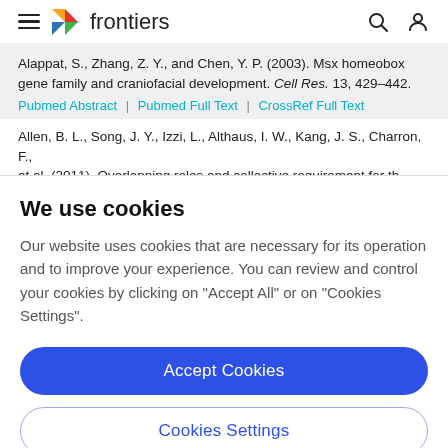frontiers
Alappat, S., Zhang, Z. Y., and Chen, Y. P. (2003). Msx homeobox gene family and craniofacial development. Cell Res. 13, 429–442.
Pubmed Abstract | Pubmed Full Text | CrossRef Full Text
Allen, B. L., Song, J. Y., Izzi, L., Althaus, I. W., Kang, J. S., Charron, F., et al. (2011). Overlapping roles and collective requirement for the coreceptors GAS1, CDO, and BOC in SHH pathway function.
We use cookies
Our website uses cookies that are necessary for its operation and to improve your experience. You can review and control your cookies by clicking on "Accept All" or on "Cookies Settings".
Accept Cookies
Cookies Settings